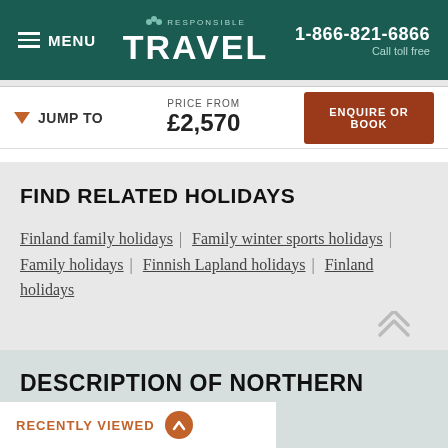MENU | RESPONSIBLE TRAVEL | 1-866-821-6866 Call toll free
JUMP TO | PRICE FROM £2,570 | ENQUIRE OR BOOK
FIND RELATED HOLIDAYS
Finland family holidays | Family winter sports holidays | Family holidays | Finnish Lapland holidays | Finland holidays
DESCRIPTION OF NORTHERN LIGHTS ... FINLAND
RECENTLY VIEWED